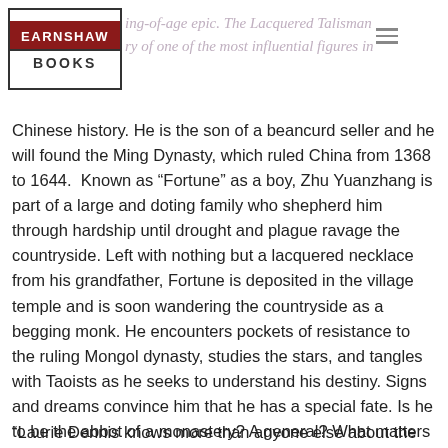EARNSHAW BOOKS | coming-of-age epic. The Lacquered Talisman ... story of one of the most influential figures in
Chinese history. He is the son of a beancurd seller and he will found the Ming Dynasty, which ruled China from 1368 to 1644. Known as “Fortune” as a boy, Zhu Yuanzhang is part of a large and doting family who shepherd him through hardship until drought and plague ravage the countryside. Left with nothing but a lacquered necklace from his grandfather, Fortune is deposited in the village temple and is soon wandering the countryside as a begging monk. He encounters pockets of resistance to the ruling Mongol dynasty, studies the stars, and tangles with Taoists as he seeks to understand his destiny. Signs and dreams convince him that he has a special fate. Is he to be the abbot of a monastery? A general? What matters most is that he prove himself to be a filial son.
“Laurie Dennis knows more than anyone else about the